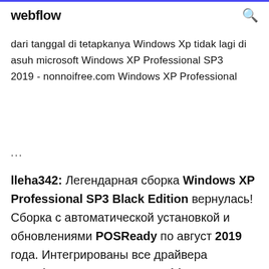webflow
dari tanggal di tetapkanya Windows Xp tidak lagi di asuh microsoft Windows XP Professional SP3      2019 - nonnoifree.com Windows XP Professional
...
lleha342: Легендарная сборка Windows XP Professional SP3 Black Edition вернулась! Сборка с автоматической установкой и обновлениями POSReady по август 2019 года. Интегрированы все драйвера SATA/ACHI, LAN, WLAN и Chipset и многое другое